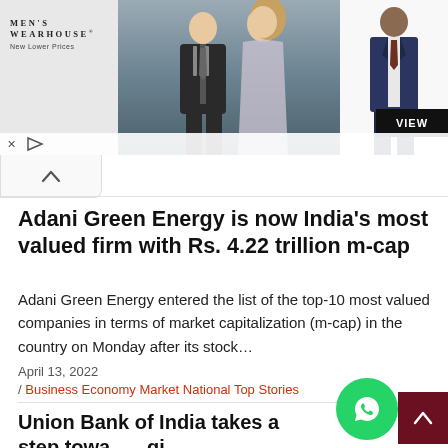[Figure (screenshot): Men's Wearhouse advertisement banner with couple in formal wear and man in suit, VIEW button]
Adani Green Energy is now India’s most valued firm with Rs. 4.22 trillion m-cap
Adani Green Energy entered the list of the top-10 most valued companies in terms of market capitalization (m-cap) in the country on Monday after its stock…
April 13, 2022
/ Business Economy Market National Top Stories
Union Bank of India takes a step towards digital transformation; a super-app gets launched